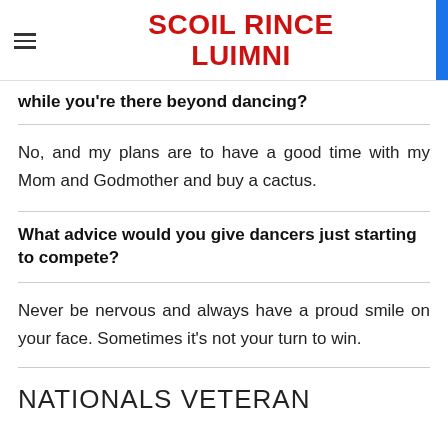SCOIL RINCE LUIMNI
while you're there beyond dancing?
No, and my plans are to have a good time with my Mom and Godmother and buy a cactus.
What advice would you give dancers just starting to compete?
Never be nervous and always have a proud smile on your face. Sometimes it's not your turn to win.
NATIONALS VETERAN